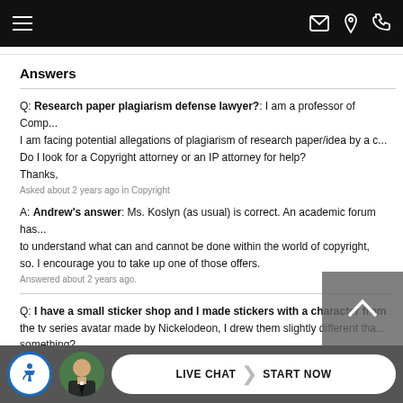Navigation bar with hamburger menu, email, location, and phone icons
Answers
Q: Research paper plagiarism defense lawyer?: I am a professor of Comp... I am facing potential allegations of plagiarism of research paper/idea by a c... Do I look for a Copyright attorney or an IP attorney for help? Thanks,
Asked about 2 years ago in Copyright
A: Andrew's answer: Ms. Koslyn (as usual) is correct. An academic forum has... to understand what can and cannot be done within the world of copyright, so. I encourage you to take up one of those offers.
Answered about 2 years ago.
Q: I have a small sticker shop and I made stickers with a character from the tv series avatar made by Nickelodeon, I drew them slightly different tha... something?
Asked about 2 years ago in Copyright
LIVE CHAT  START NOW